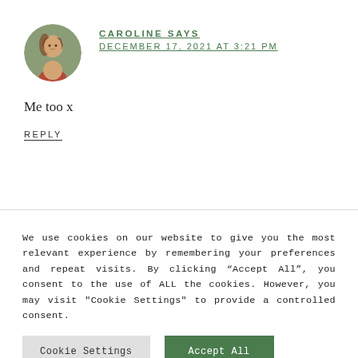CAROLINE SAYS
DECEMBER 17, 2021 AT 3:21 PM
Me too x
REPLY
We use cookies on our website to give you the most relevant experience by remembering your preferences and repeat visits. By clicking “Accept All”, you consent to the use of ALL the cookies. However, you may visit "Cookie Settings" to provide a controlled consent.
Cookie Settings
Accept All